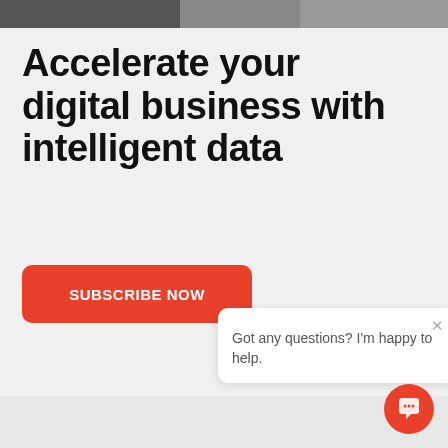[Figure (photo): Partial photo of people at the top of the page]
Accelerate your digital business with intelligent data
SUBSCRIBE NOW
Got any questions? I'm happy to help.
[Figure (illustration): Orange circular chat button icon at bottom right]